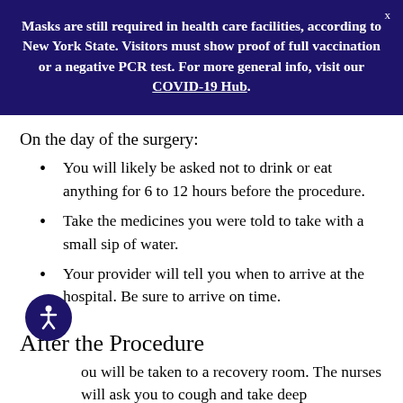Masks are still required in health care facilities, according to New York State. Visitors must show proof of full vaccination or a negative PCR test. For more general info, visit our COVID-19 Hub.
On the day of the surgery:
You will likely be asked not to drink or eat anything for 6 to 12 hours before the procedure.
Take the medicines you were told to take with a small sip of water.
Your provider will tell you when to arrive at the hospital. Be sure to arrive on time.
After the Procedure
You will be taken to a recovery room. The nurses will ask you to cough and take deep